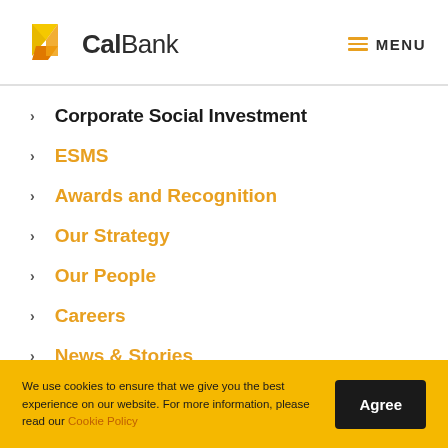[Figure (logo): CalBank logo with yellow and orange geometric shapes and bold CalBank text]
Corporate Social Investment
ESMS
Awards and Recognition
Our Strategy
Our People
Careers
News & Stories
We use cookies to ensure that we give you the best experience on our website. For more information, please read our Cookie Policy